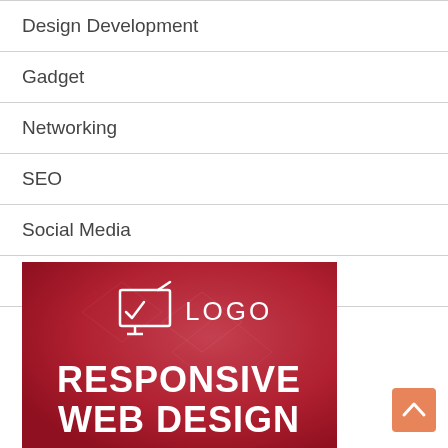Design Development
Gadget
Networking
SEO
Social Media
Technology
[Figure (illustration): Red banner with monitor/edit icon, LOGO text, and RESPONSIVE WEB DESIGN text in white bold letters on red gradient background]
[Figure (other): Salmon/orange scroll-to-top button with upward chevron arrow]